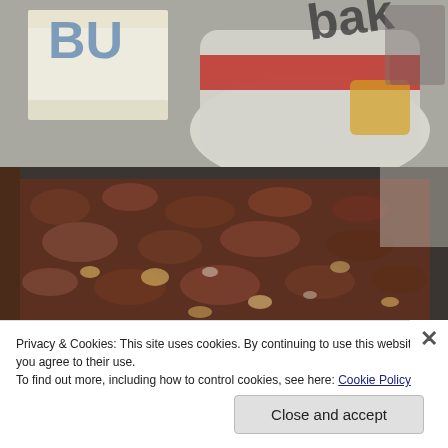[Figure (photo): Photo of baking ingredients on a counter: a stick of butter (labeled BU...) and a bag of baking chips/ingredients, with other items in the background.]
[Figure (photo): Close-up photo of a chocolate crumb cake or bar in a metal baking pan, showing a rough, crumbly chocolate surface with light-colored chunks.]
Privacy & Cookies: This site uses cookies. By continuing to use this website, you agree to their use.
To find out more, including how to control cookies, see here: Cookie Policy
Close and accept